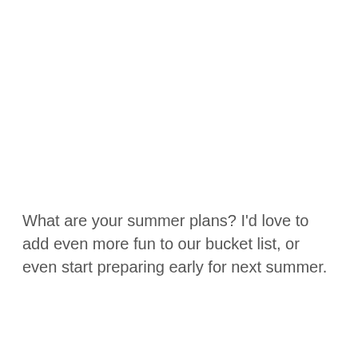What are your summer plans? I'd love to add even more fun to our bucket list, or even start preparing early for next summer.